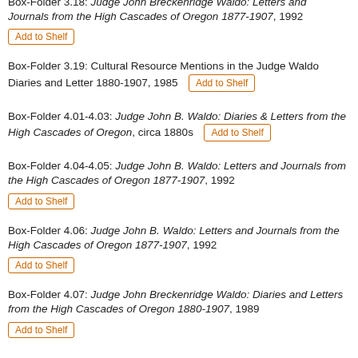Box-Folder 3.18: Judge John Breckenridge Waldo: Letters and Journals from the High Cascades of Oregon 1877-1907, 1992 [Add to Shelf]
Box-Folder 3.19: Cultural Resource Mentions in the Judge Waldo Diaries and Letter 1880-1907, 1985 [Add to Shelf]
Box-Folder 4.01-4.03: Judge John B. Waldo: Diaries & Letters from the High Cascades of Oregon, circa 1880s [Add to Shelf]
Box-Folder 4.04-4.05: Judge John B. Waldo: Letters and Journals from the High Cascades of Oregon 1877-1907, 1992 [Add to Shelf]
Box-Folder 4.06: Judge John B. Waldo: Letters and Journals from the High Cascades of Oregon 1877-1907, 1992 [Add to Shelf]
Box-Folder 4.07: Judge John Breckenridge Waldo: Diaries and Letters from the High Cascades of Oregon 1880-1907, 1989 [Add to Shelf]